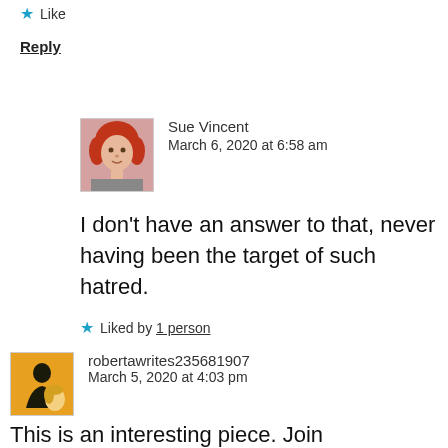★ Like
Reply
Sue Vincent
March 6, 2020 at 6:58 am
I don't have an answer to that, never having been the target of such hatred.
★ Liked by 1 person
robertawrites235681907
March 5, 2020 at 4:03 pm
This is an interesting piece. Join